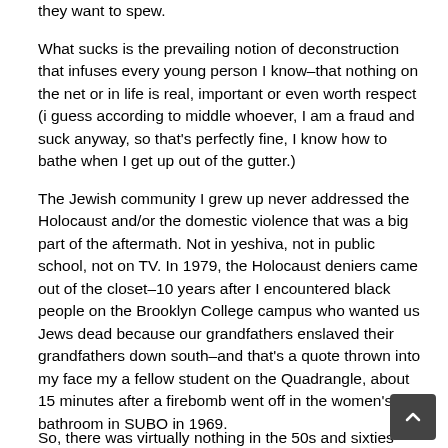they want to spew.
What sucks is the prevailing notion of deconstruction that infuses every young person I know–that nothing on the net or in life is real, important or even worth respect (i guess according to middle whoever, I am a fraud and suck anyway, so that's perfectly fine, I know how to bathe when I get up out of the gutter.)
The Jewish community I grew up never addressed the Holocaust and/or the domestic violence that was a big part of the aftermath. Not in yeshiva, not in public school, not on TV. In 1979, the Holocaust deniers came out of the closet–10 years after I encountered black people on the Brooklyn College campus who wanted us Jews dead because our grandfathers enslaved their grandfathers down south–and that's a quote thrown into my face my a fellow student on the Quadrangle, about 15 minutes after a firebomb went off in the women's bathroom in SUBO in 1969.
So, there was virtually nothing in the 50s and sixties